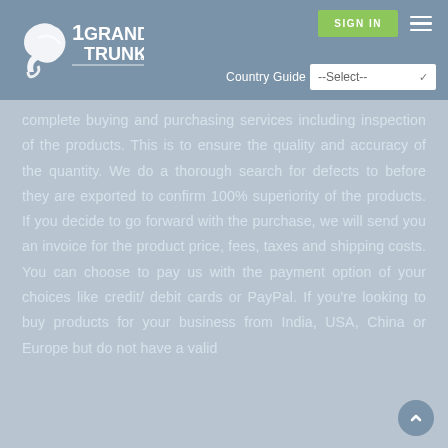[Figure (logo): 1GrandTrunk.com logo with stylized bird/trunk icon in white on blue-gray header]
[Figure (screenshot): SIGN IN green button and hamburger menu icon in header]
[Figure (screenshot): Country Guide dropdown with --Select-- option]
complete buying and purchasing services including inspection of the products. This is to ensure the quality and accuracy of the quantity. We do a thorough search for defects to before they are exported to confirm 100% superiority of the products. If you decide to go forward with the purchase, we will send you an invoice for the product price, fees, taxes and shipping costs. You can choose to pay us with the payment option of your choices like credit/ debit cards or PayPal. If you're looking to buy products for your business from India, USA, China or Europe but do not have a valid